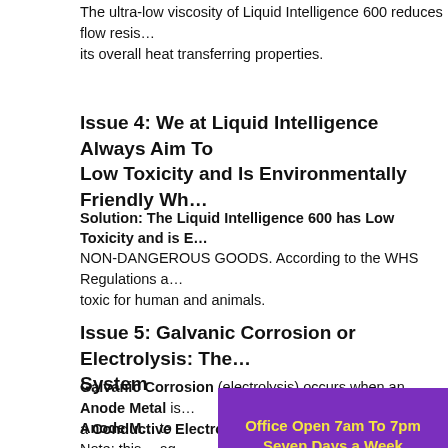The ultra-low viscosity of Liquid Intelligence 600 reduces flow resistance and improves its overall heat transferring properties.
Issue 4: We at Liquid Intelligence Always Aim To Have A Product With Low Toxicity and Is Environmentally Friendly Wh...
Solution: The Liquid Intelligence 600 has Low Toxicity and is E...
NON-DANGEROUS GOODS. According to the WHS Regulations a... toxic for human and animals.
Issue 5: Galvanic Corrosion or Electrolysis: The... System
Galvanic Corrosion (electrolysis) occurs when an Anode Metal is... a Conductive Electrolyte Solution (radiator coolant).
Anode M... to... Note: this... ag... Cadmium... ac...
[Figure (other): Purple popup banner with yellow bold text reading: Office Open 7am To 7pm / Seven Days a Week / CLICK HERE To Ask A Question]